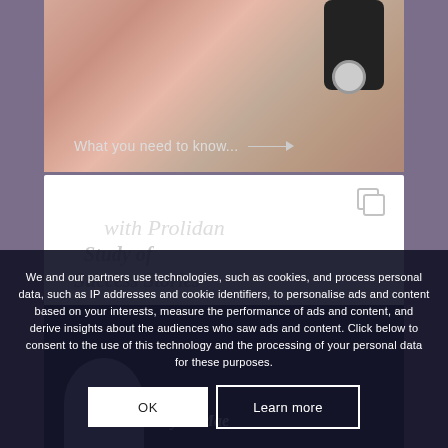[Figure (photo): Close-up of a person's face/cheek receiving a cosmetic or beauty treatment with a device. Overlay text reads 'What you need to know...' with a horizontal arrow.]
[Figure (screenshot): White card area with a stacked-square icon in top right and faint italic script text reading 'with Prolidan', 'Study of', 'Success Stories']
[Figure (photo): Dark section showing a person's photo (shoulder/head silhouette) and italic text 'Skyler Mae']
We and our partners use technologies, such as cookies, and process personal data, such as IP addresses and cookie identifiers, to personalise ads and content based on your interests, measure the performance of ads and content, and derive insights about the audiences who saw ads and content. Click below to consent to the use of this technology and the processing of your personal data for these purposes.